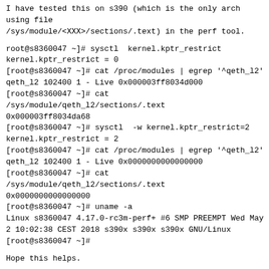I have tested this on s390 (which is the only arch using file
/sys/module/<XXX>/sections/.text) in the perf tool.
root@s8360047 ~]# sysctl  kernel.kptr_restrict
kernel.kptr_restrict = 0
[root@s8360047 ~]# cat /proc/modules | egrep '^qeth_l2'
qeth_l2 102400 1 - Live 0x000003ff8034d000
[root@s8360047 ~]# cat
/sys/module/qeth_l2/sections/.text
0x000003ff8034da68
[root@s8360047 ~]# sysctl  -w kernel.kptr_restrict=2
kernel.kptr_restrict = 2
[root@s8360047 ~]# cat /proc/modules | egrep '^qeth_l2'
qeth_l2 102400 1 - Live 0x0000000000000000
[root@s8360047 ~]# cat
/sys/module/qeth_l2/sections/.text
0x0000000000000000
[root@s8360047 ~]# uname -a
Linux s8360047 4.17.0-rc3m-perf+ #6 SMP PREEMPT Wed May
2 10:02:38 CEST 2018 s390x s390x s390x GNU/Linux
[root@s8360047 ~]#
Hope this helps.
--
Thomas Richter, Dept 3303, IBM s390 Linux Development,
Boeblingen, Germany
--
Vorsitzende des Aufsichtsrats: Martina Koederitz
Geschäftsführung: Dirk Wittkopp